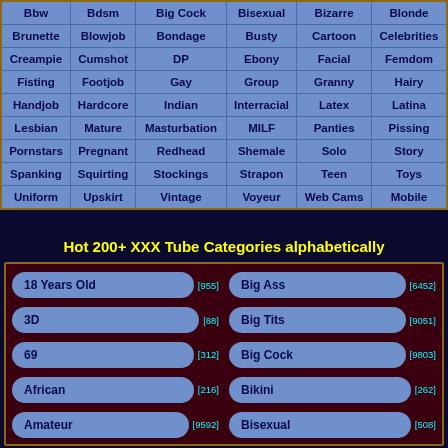| Bbw | Bdsm | Big Cock | Bisexual | Bizarre | Blonde |
| --- | --- | --- | --- | --- | --- |
| Brunette | Blowjob | Bondage | Busty | Cartoon | Celebrities |
| Creampie | Cumshot | DP | Ebony | Facial | Femdom |
| Fisting | Footjob | Gay | Group | Granny | Hairy |
| Handjob | Hardcore | Indian | Interracial | Latex | Latina |
| Lesbian | Mature | Masturbation | MILF | Panties | Pissing |
| Pornstars | Pregnant | Redhead | Shemale | Solo | Story |
| Spanking | Squirting | Stockings | Strapon | Teen | Toys |
| Uniform | Upskirt | Vintage | Voyeur | Web Cams | Mobile |
Hot 200+ XXX Tube Categories alphabetically
18 Years Old [955]
3D [88]
69 [312]
African [216]
Amateur [9592]
Big Ass [6452]
Big Tits [9051]
Big Cock [9803]
Bikini [262]
Bisexual [508]